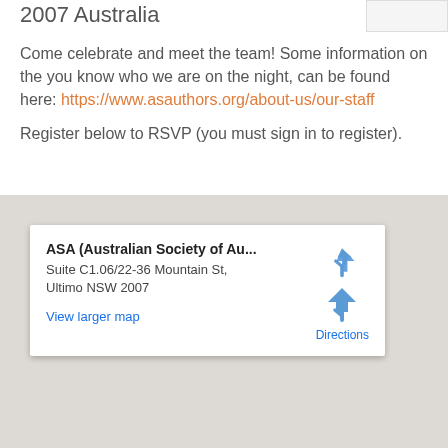2007 Australia
Come celebrate and meet the team! Some information on the you know who we are on the night, can be found here: https://www.asauthors.org/about-us/our-staff
Register below to RSVP (you must sign in to register).
[Figure (map): Google Maps embed showing location of ASA (Australian Society of Au...) at Suite C1.06/22-36 Mountain St, Ultimo NSW 2007, with a Directions button and View larger map link]